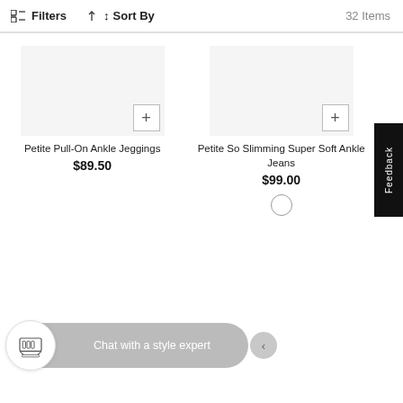Filters  ↕ Sort By  32 Items
Petite Pull-On Ankle Jeggings
$89.50
Petite So Slimming Super Soft Ankle Jeans
$99.00
Feedback
Chat with a style expert